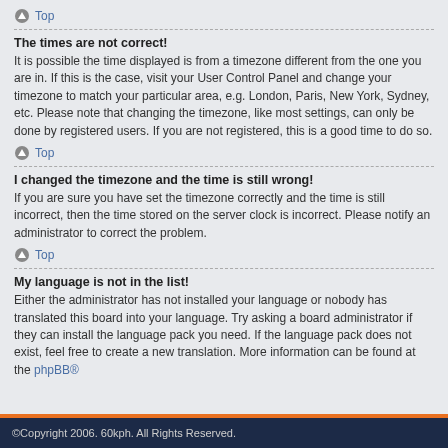Top
The times are not correct!
It is possible the time displayed is from a timezone different from the one you are in. If this is the case, visit your User Control Panel and change your timezone to match your particular area, e.g. London, Paris, New York, Sydney, etc. Please note that changing the timezone, like most settings, can only be done by registered users. If you are not registered, this is a good time to do so.
Top
I changed the timezone and the time is still wrong!
If you are sure you have set the timezone correctly and the time is still incorrect, then the time stored on the server clock is incorrect. Please notify an administrator to correct the problem.
Top
My language is not in the list!
Either the administrator has not installed your language or nobody has translated this board into your language. Try asking a board administrator if they can install the language pack you need. If the language pack does not exist, feel free to create a new translation. More information can be found at the phpBB®
©Copyright 2006. 60kph. All Rights Reserved.